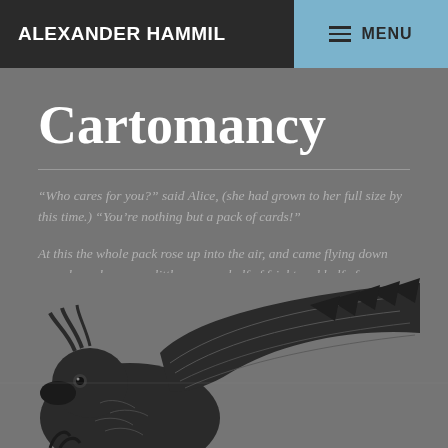ALEXANDER HAMMIL
Cartomancy
“Who cares for you?” said Alice, (she had grown to her full size by this time.) “You’re nothing but a pack of cards!”
At this the whole pack rose up into the air, and came flying down upon her: she gave a little scream, half of fright and half of anger, and tried to beat them off, and found herself lying on the bank, with her head in the lap of her sister, who was
DECEMBER 25, 2012
CARTOMANCY
[Figure (illustration): Vintage engraving illustration of a bird (eagle or similar) with detailed feathers and wings, partially visible at the bottom of the page]